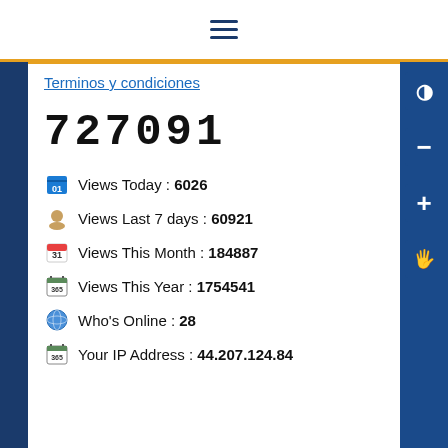≡ (hamburger menu icon)
Terminos y condiciones
727091
Views Today : 6026
Views Last 7 days : 60921
Views This Month : 184887
Views This Year : 1754541
Who's Online : 28
Your IP Address : 44.207.124.84